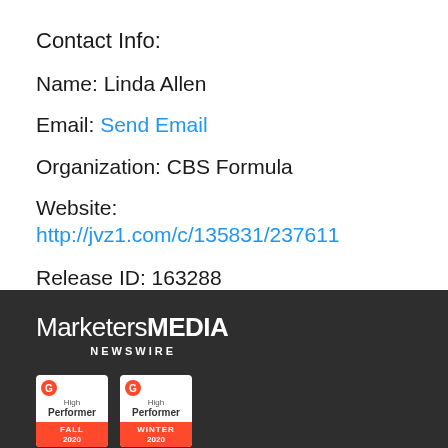Contact Info:
Name: Linda Allen
Email: Send Email
Organization: CBS Formula
Website: http://jvz1.com/c/135831/237611
Release ID: 163288
[Figure (logo): MarketersMEDIA NEWSWIRE logo in white text on dark background, with two G2 High Performer badges below]